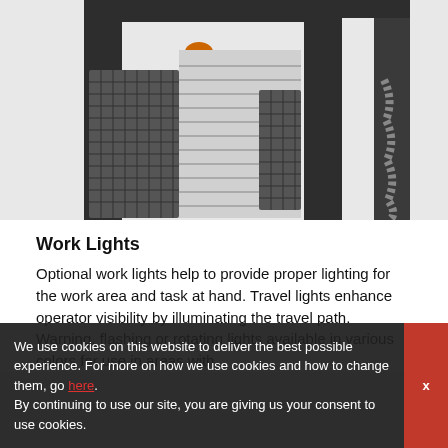[Figure (photo): Industrial forklift mast or lifting equipment frame with safety mesh guards, amber warning light on top, and corrugated shutter panel, photographed against white background.]
Work Lights
Optional work lights help to provide proper lighting for the work area and task at hand. Travel lights enhance operator visibility by illuminating the travel path. Warning, flashing or rotating lights available in various colors for use in areas with
We use cookies on this website to deliver the best possible experience. For more on how we use cookies and how to change them, go here.
By continuing to use our site, you are giving us your consent to use cookies.